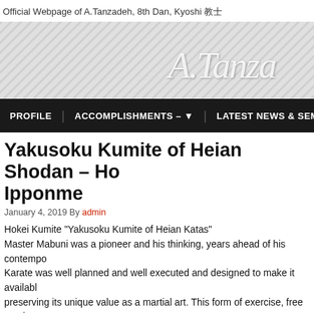Official Webpage of A.Tanzadeh, 8th Dan, Kyoshi 教士
[Figure (illustration): Banner with diagonal stripe pattern background and cursive signature 'A.Tanza...' in white text on the right side]
PROFILE   ACCOMPLISHMENTS – ▾   LATEST NEWS & SEM...
Yakusoku Kumite of Heian Shodan – Ho... Ipponme
January 4, 2019 By admin
Hokei Kumite "Yakusoku Kumite of Heian Katas"
Master Mabuni was a pioneer and his thinking, years ahead of his contempo... Karate was well planned and well executed and designed to make it availabl... preserving its unique value as a martial art. This form of exercise, free sparin... most prominent masters of Karate.
Master Mabuni experimented it with protective equipments, during the 1930s... self-simulative combat. However powerfully applied techniques still could ca... thickest protections and broken feet and hands were common. Also, becau...